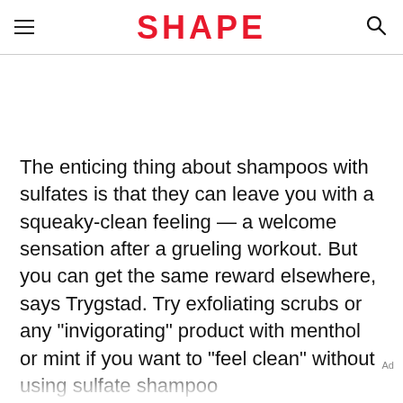SHAPE
The enticing thing about shampoos with sulfates is that they can leave you with a squeaky-clean feeling — a welcome sensation after a grueling workout. But you can get the same reward elsewhere, says Trygstad. Try exfoliating scrubs or any "invigorating" product with menthol or mint if you want to "feel clean" without using sulfate shampoo